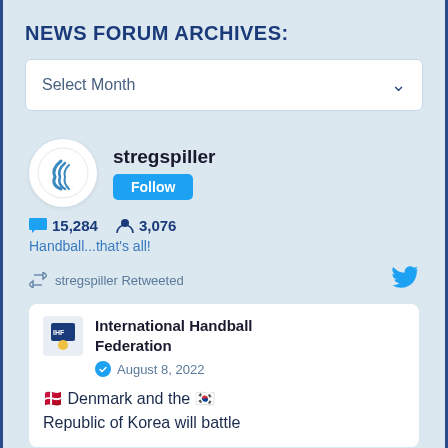NEWS FORUM ARCHIVES:
Select Month
[Figure (screenshot): Twitter widget showing stregspiller account with Follow button, 15,284 tweets, 3,076 followers, bio 'Handball...that’s all!', a retweet from International Handball Federation dated August 8, 2022, with tweet text beginning '🇩🇰 Denmark and the 🇰🇷 Republic of Korea will battle']